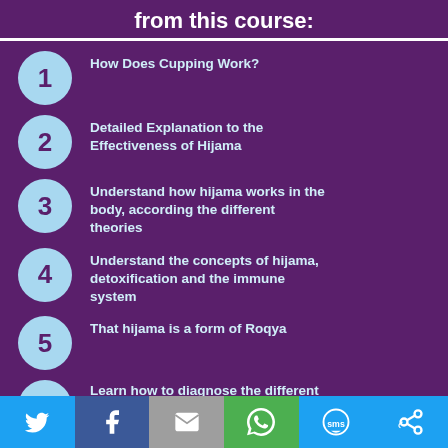from this course:
1 — How Does Cupping Work?
2 — Detailed Explanation to the Effectiveness of Hijama
3 — Understand how hijama works in the body, according the different theories
4 — Understand the concepts of hijama, detoxification and the immune system
5 — That hijama is a form of Roqya
6 — Learn how to diagnose the different
[Figure (infographic): Social sharing footer bar with Twitter, Facebook, Email, WhatsApp, SMS, and another share icon buttons]